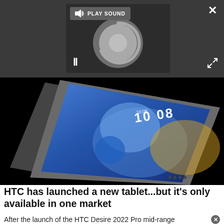[Figure (screenshot): Dark modal overlay with a media player panel showing a circular loading spinner, pause button (∥), a 'PLAY SOUND' button with speaker icon, a close X button top-right, and an expand/fullscreen button bottom-right.]
[Figure (photo): HTC tablet device shown at an angle against a black background, displaying a blue abstract wallpaper with the time 10:08 on screen.]
HTC has launched a new tablet...but it's only available in one market
After the launch of the HTC Desire 2022 Pro mid-range